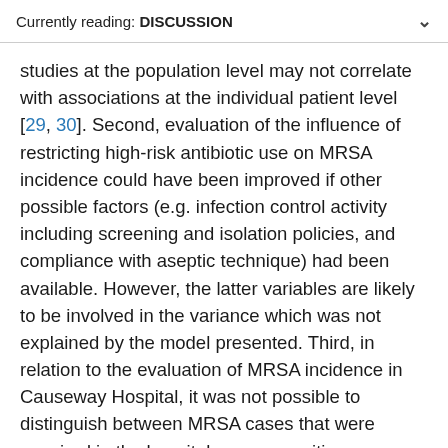Currently reading: DISCUSSION
studies at the population level may not correlate with associations at the individual patient level [29, 30]. Second, evaluation of the influence of restricting high-risk antibiotic use on MRSA incidence could have been improved if other possible factors (e.g. infection control activity including screening and isolation policies, and compliance with aseptic technique) had been available. However, the latter variables are likely to be involved in the variance which was not explained by the model presented. Third, in relation to the evaluation of MRSA incidence in Causeway Hospital, it was not possible to distinguish between MRSA cases that were acquired in the hospital or were positive on admission. Fourth, there is a lack of other possible factors that might explain the reduction of MRSA in the community. This latter area requires more investigation using data at